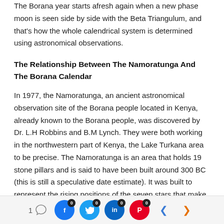The Borana year starts afresh again when a new phase moon is seen side by side with the Beta Triangulum, and that's how the whole calendrical system is determined using astronomical observations.
The Relationship Between The Namoratunga And The Borana Calendar
In 1977, the Namoratunga, an ancient astronomical observation site of the Borana people located in Kenya, already known to the Borana people, was discovered by Dr. L.H Robbins and B.M Lynch. They were both working in the northwestern part of Kenya, the Lake Turkana area to be precise. The Namoratunga is an area that holds 19 stone pillars and is said to have been built around 300 BC (this is still a speculative date estimate). It was built to represent the rising positions of the seven stars that make up the Borana calendar. If the speculated time of the
1 [comment] [Facebook 0] [Twitter 0] [LinkedIn 0] [Pinterest 0] [< >]